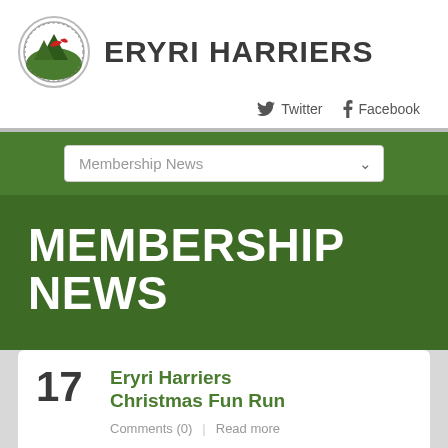[Figure (logo): Eryri Harriers circular logo with bird and mountain imagery]
ERYRI HARRIERS
Twitter  Facebook
Membership News
MEMBERSHIP NEWS
17
Eryri Harriers Christmas Fun Run
Comments (0)  Read more